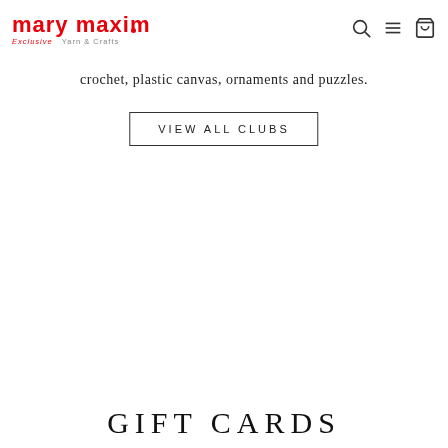mary maxim — Exclusive Yarn & Crafts
crochet, plastic canvas, ornaments and puzzles.
VIEW ALL CLUBS
GIFT CARDS